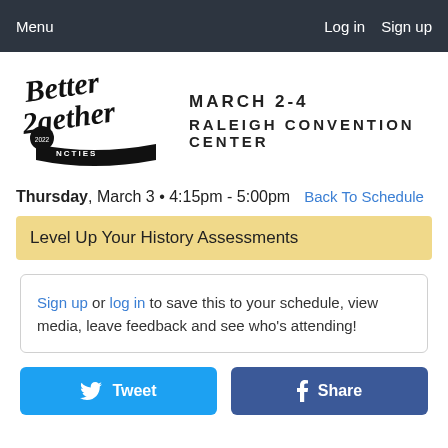Menu   Log in   Sign up
[Figure (logo): Better Together 2 logo with NCTIES 2022 text, stylized handwritten script]
MARCH 2-4 RALEIGH CONVENTION CENTER
Thursday, March 3 • 4:15pm - 5:00pm   Back To Schedule
Level Up Your History Assessments
Sign up or log in to save this to your schedule, view media, leave feedback and see who's attending!
Tweet   Share